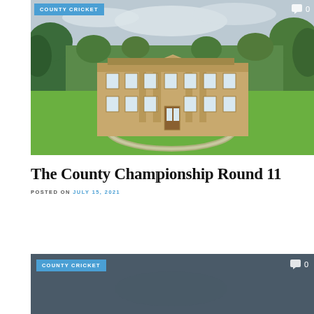[Figure (photo): Aerial/ground-level view of a large Georgian-style country house or stately home with circular driveway, surrounded by green lawns and trees under a cloudy sky]
COUNTY CRICKET
0
The County Championship Round 11
POSTED ON JULY 15, 2021
[Figure (photo): Partially visible dark/stormy scene, beginning of a second article image]
COUNTY CRICKET
0